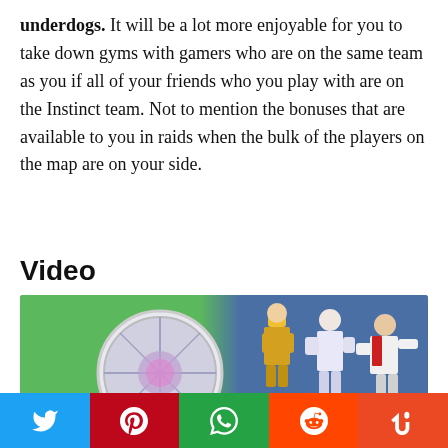underdogs. It will be a lot more enjoyable for you to take down gyms with gamers who are on the same team as you if all of your friends who you play with are on the Instinct team. Not to mention the bonuses that are available to you in raids when the bulk of the players on the map are on your side.
Video
[Figure (photo): Pokemon GO team leaders promotional image with coin medallion on green/blue background]
[Figure (infographic): Social share bar with Twitter, Pinterest, WhatsApp, Reddit, and StumbleUpon buttons]